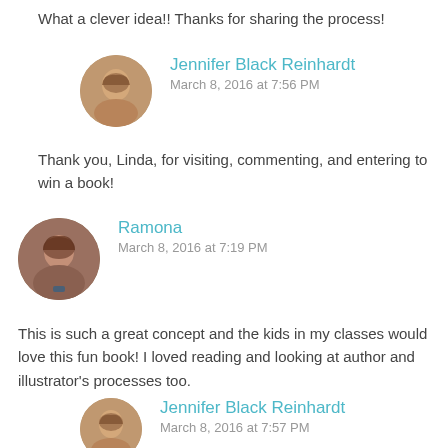What a clever idea!! Thanks for sharing the process!
Jennifer Black Reinhardt
March 8, 2016 at 7:56 PM
Thank you, Linda, for visiting, commenting, and entering to win a book!
Ramona
March 8, 2016 at 7:19 PM
This is such a great concept and the kids in my classes would love this fun book! I loved reading and looking at author and illustrator's processes too.
Jennifer Black Reinhardt
March 8, 2016 at 7:57 PM